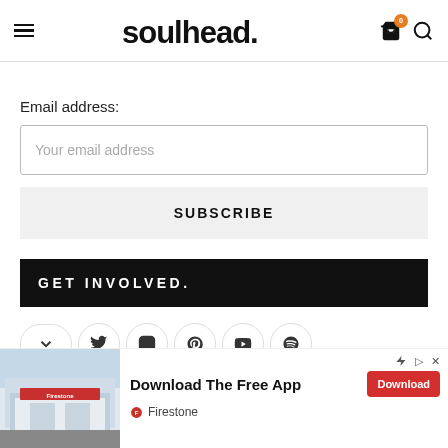soulhead
Email address:
Your email address
SUBSCRIBE
GET INVOLVED.
[Figure (other): Social media icon row with chevron, Twitter, Instagram, Pinterest, YouTube, and Spotify icons]
[Figure (other): Advertisement banner: Firestone store photo with text 'Download The Free App' and a red Download button]